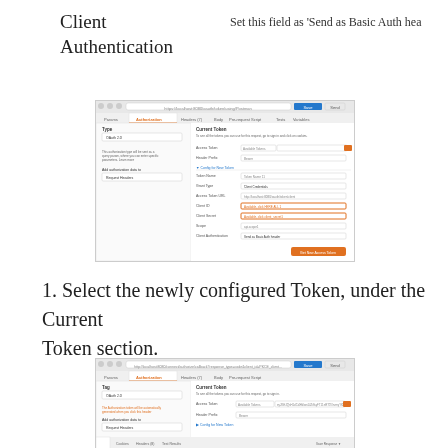Client Authentication
Set this field as ‘Send as Basic Auth header’
[Figure (screenshot): Screenshot of a web application configuration form showing OAuth2/token settings with fields for Current Token, Token Type, Header Prefix, Config for New Token section with fields for Token Name, Grant Type, Access Token URL, Client ID, Client Secret, Scope, and Client Authentication. An orange button 'Get New Access Token' is visible at the bottom.]
1. Select the newly configured Token, under the Current Token section.
[Figure (screenshot): Screenshot of a web application configuration form showing the Authorization/OAuth2 settings with Current Token section filled in, showing Token Name and Header Prefix fields, and a Config for New Token collapsed section below. At the bottom are tabs for Body, Cookies, Headers, Test Results.]